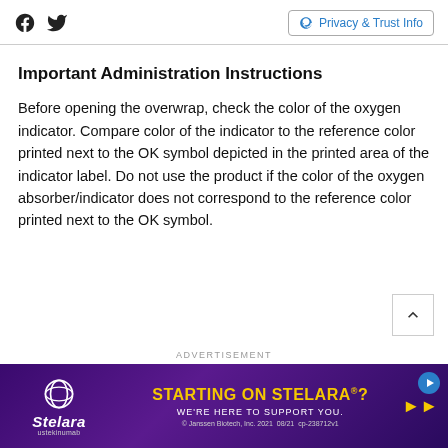Social icons (Facebook, Twitter) | Privacy & Trust Info
Important Administration Instructions
Before opening the overwrap, check the color of the oxygen indicator. Compare color of the indicator to the reference color printed next to the OK symbol depicted in the printed area of the indicator label. Do not use the product if the color of the oxygen absorber/indicator does not correspond to the reference color printed next to the OK symbol.
ADVERTISEMENT
[Figure (other): Stelara (ustekinumab) advertisement banner with purple background. Text reads: STARTING ON STELARA? WE'RE HERE TO SUPPORT YOU. © Janssen Biotech, Inc. 2021 08/21 cp-238712v1]